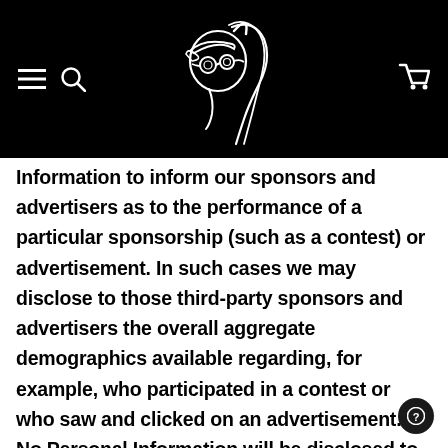[Figure (logo): Black header bar with hamburger menu icon and search icon on the left, a white line-art illustration of a girl with goggles and ponytail in the center, and a shopping cart icon on the right.]
Information to inform our sponsors and advertisers as to the performance of a particular sponsorship (such as a contest) or advertisement. In such cases we may disclose to those third-party sponsors and advertisers the overall aggregate demographics available regarding, for example, who participated in a contest or who saw and clicked on an advertisement.  No Personal Information will be disclosed to these sponsors and advertisers as part of this process, only information in an anonymous, aggregate form will be disclosed in this manner.